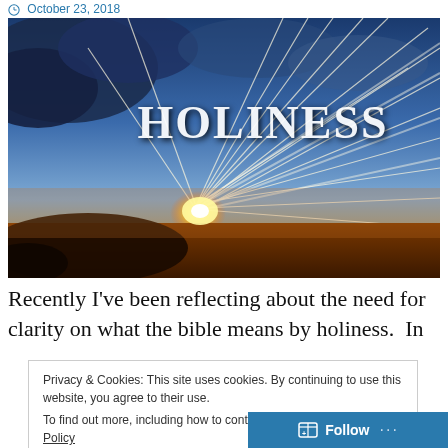October 23, 2018
[Figure (photo): Dramatic sky with sunrays breaking through dark clouds at sunset, with the word HOLINESS in large white serif text in the upper right area of the image.]
Recently I've been reflecting about the need for clarity on what the bible means by holiness.  In
Privacy & Cookies: This site uses cookies. By continuing to use this website, you agree to their use.
To find out more, including how to control cookies, see here: Cookie Policy
Close and accept
Follow ...